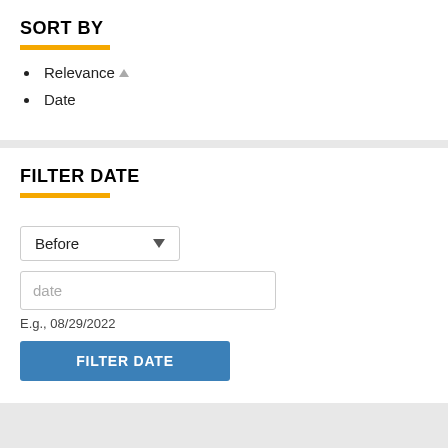SORT BY
Relevance ▲
Date
FILTER DATE
Before ∨
date
E.g., 08/29/2022
FILTER DATE